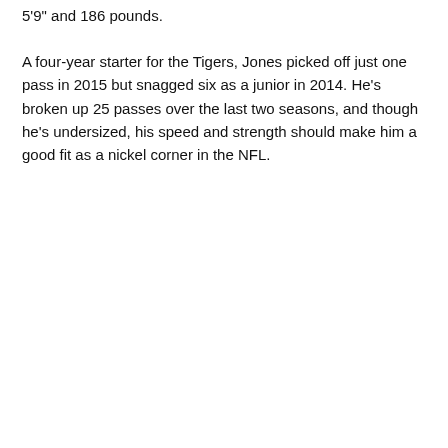5'9" and 186 pounds.
A four-year starter for the Tigers, Jones picked off just one pass in 2015 but snagged six as a junior in 2014. He's broken up 25 passes over the last two seasons, and though he's undersized, his speed and strength should make him a good fit as a nickel corner in the NFL.
[Figure (other): White rectangular box with Previous and Next navigation buttons at the bottom]